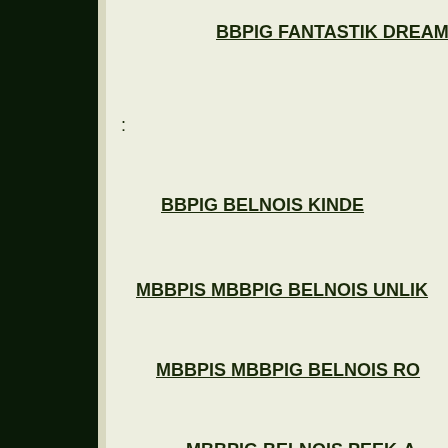BBPIG FANTASTIK DREAM CU
:
BBPIG BELNOIS KINDE
MBBPIS MBBPIG BELNOIS UNLIK
MBBPIS MBBPIG BELNOIS RO
MBBPIG BELNOIS PEEK-A
MBBPIS MBBPIG CH. BELNOIS N
MBBPIS MBBPIG BELNOIS ONWAR
BBPIS MBBPIG BELNOIS OH
BBPIG BELNOIS MAKI
- 201
MBBPIG DEVAEL RIPPLE E